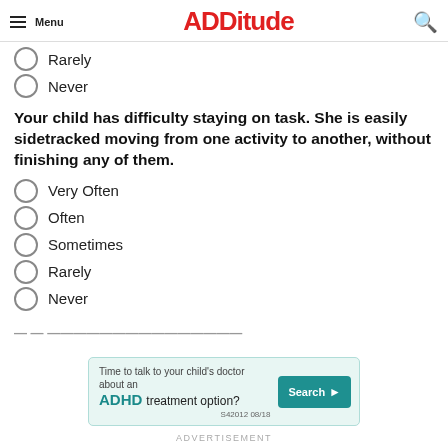Menu | ADDitude
Rarely
Never
Your child has difficulty staying on task. She is easily sidetracked moving from one activity to another, without finishing any of them.
Very Often
Often
Sometimes
Rarely
Never
[Figure (screenshot): Advertisement banner: Time to talk to your child's doctor about an ADHD treatment option? Search button. S42012 08/18]
ADVERTISEMENT